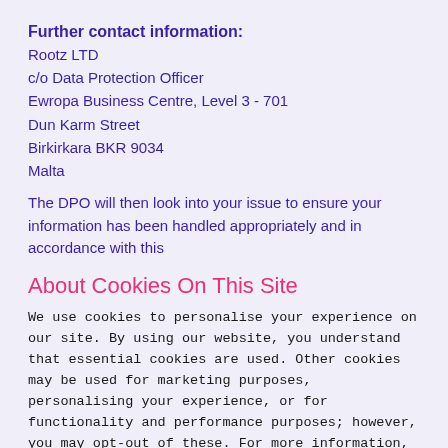Further contact information:
Rootz LTD
c/o Data Protection Officer
Ewropa Business Centre, Level 3 - 701
Dun Karm Street
Birkirkara BKR 9034
Malta
The DPO will then look into your issue to ensure your information has been handled appropriately and in accordance with this
About Cookies On This Site
We use cookies to personalise your experience on our site. By using our website, you understand that essential cookies are used. Other cookies may be used for marketing purposes, personalising your experience, or for functionality and performance purposes; however, you may opt-out of these. For more information, please visit our Privacy Policy.
Accept All
Options